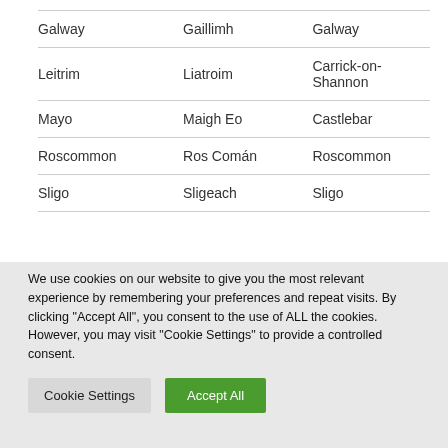| Galway | Gaillimh | Galway |
| Leitrim | Liatroim | Carrick-on-Shannon |
| Mayo | Maigh Eo | Castlebar |
| Roscommon | Ros Comán | Roscommon |
| Sligo | Sligeach | Sligo |
We use cookies on our website to give you the most relevant experience by remembering your preferences and repeat visits. By clicking "Accept All", you consent to the use of ALL the cookies. However, you may visit "Cookie Settings" to provide a controlled consent.